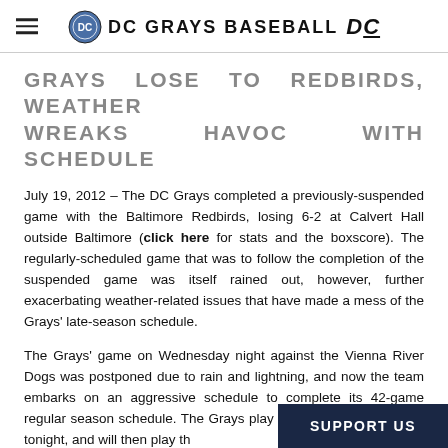DC GRAYS BASEBALL
GRAYS LOSE TO REDBIRDS, WEATHER WREAKS HAVOC WITH SCHEDULE
July 19, 2012 – The DC Grays completed a previously-suspended game with the Baltimore Redbirds, losing 6-2 at Calvert Hall outside Baltimore (click here for stats and the boxscore). The regularly-scheduled game that was to follow the completion of the suspended game was itself rained out, however, further exacerbating weather-related issues that have made a mess of the Grays' late-season schedule.
The Grays' game on Wednesday night against the Vienna River Dogs was postponed due to rain and lightning, and now the team embarks on an aggressive schedule to complete its 42-game regular season schedule. The Grays play the Express in Rockville tonight, and will then play the Herndon on Saturday night. The Bra